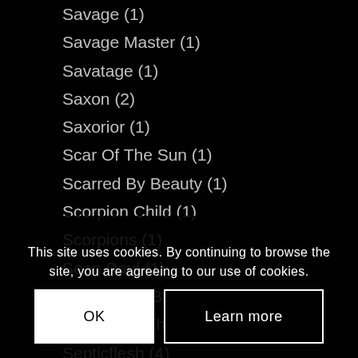Savage (1)
Savage Master (1)
Savatage (1)
Saxon (2)
Saxorior (1)
Scar Of The Sun (1)
Scarred By Beauty (1)
Scorpion Child (1)
Scorpions (1)
Sean Paul (1)
Seasons In Black (1)
Secrets Of The Moon (1)
Septicflesh (4)
Serpentic (1)
Serum 114 (2)
Sevendust (1)
This site uses cookies. By continuing to browse the site, you are agreeing to our use of cookies.